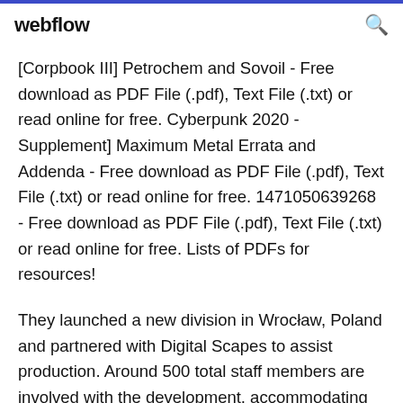webflow
[Corpbook III] Petrochem and Sovoil - Free download as PDF File (.pdf), Text File (.txt) or read online for free. Cyberpunk 2020 - Supplement] Maximum Metal Errata and Addenda - Free download as PDF File (.pdf), Text File (.txt) or read online for free. 1471050639268 - Free download as PDF File (.pdf), Text File (.txt) or read online for free. Lists of PDFs for resources!
They launched a new division in Wrocław, Poland and partnered with Digital Scapes to assist production. Around 500 total staff members are involved with the development, accommodating the number that work both the...